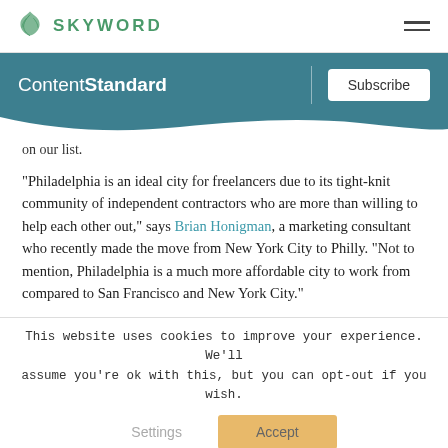SKYWORD
ContentStandard
on our list.
"Philadelphia is an ideal city for freelancers due to its tight-knit community of independent contractors who are more than willing to help each other out," says Brian Honigman, a marketing consultant who recently made the move from New York City to Philly. "Not to mention, Philadelphia is a much more affordable city to work from compared to San Francisco and New York City."
This website uses cookies to improve your experience. We'll assume you're ok with this, but you can opt-out if you wish.
Settings | Accept